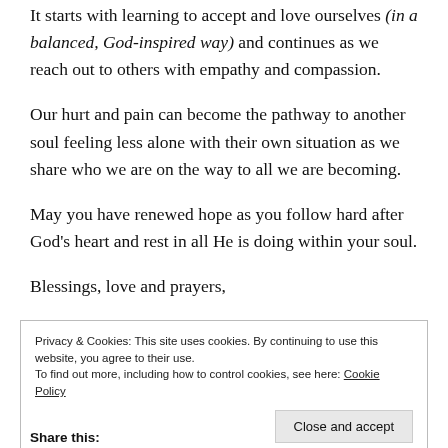It starts with learning to accept and love ourselves (in a balanced, God-inspired way) and continues as we reach out to others with empathy and compassion.
Our hurt and pain can become the pathway to another soul feeling less alone with their own situation as we share who we are on the way to all we are becoming.
May you have renewed hope as you follow hard after God's heart and rest in all He is doing within your soul.
Blessings, love and prayers,
Privacy & Cookies: This site uses cookies. By continuing to use this website, you agree to their use. To find out more, including how to control cookies, see here: Cookie Policy
Close and accept
Share this: